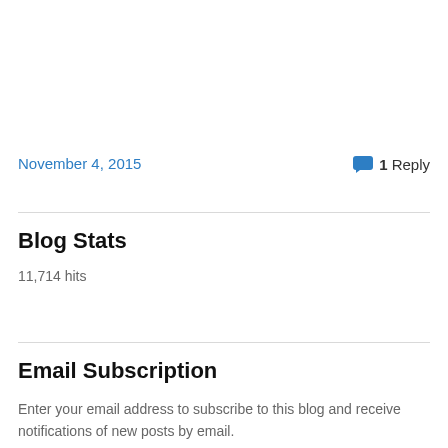November 4, 2015
1 Reply
Blog Stats
11,714 hits
Email Subscription
Enter your email address to subscribe to this blog and receive notifications of new posts by email.